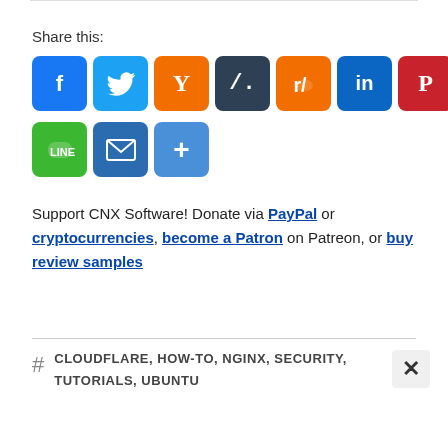Share this:
[Figure (infographic): Row of social share icon buttons: Facebook, Twitter, Hacker News (Y), Hacker News (/.), Reddit, LinkedIn, Pinterest, Flipboard, MobileRead (MW); second row: Line, Email, More (+)]
Support CNX Software! Donate via PayPal or cryptocurrencies, become a Patron on Patreon, or buy review samples
# CLOUDFLARE, HOW-TO, NGINX, SECURITY, TUTORIALS, UBUNTU